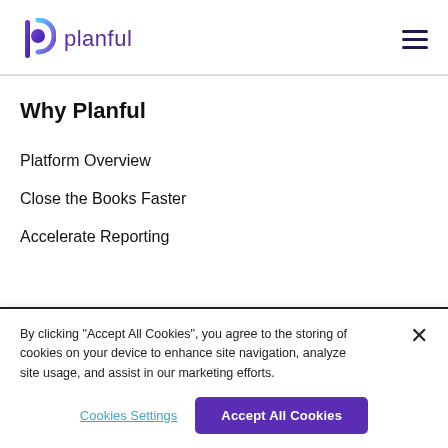planful
Why Planful
Platform Overview
Close the Books Faster
Accelerate Reporting
By clicking "Accept All Cookies", you agree to the storing of cookies on your device to enhance site navigation, analyze site usage, and assist in our marketing efforts.
Cookies Settings
Accept All Cookies